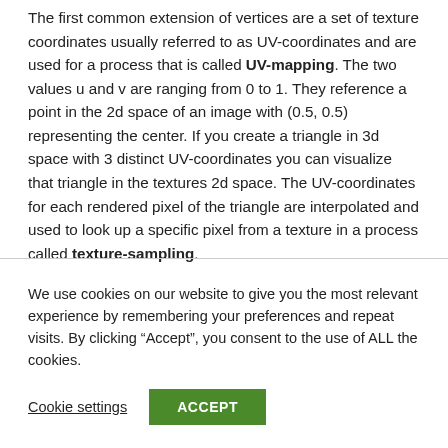The first common extension of vertices are a set of texture coordinates usually referred to as UV-coordinates and are used for a process that is called UV-mapping. The two values u and v are ranging from 0 to 1. They reference a point in the 2d space of an image with (0.5, 0.5) representing the center. If you create a triangle in 3d space with 3 distinct UV-coordinates you can visualize that triangle in the textures 2d space. The UV-coordinates for each rendered pixel of the triangle are interpolated and used to look up a specific pixel from a texture in a process called texture-sampling.
We use cookies on our website to give you the most relevant experience by remembering your preferences and repeat visits. By clicking “Accept”, you consent to the use of ALL the cookies.
Cookie settings
ACCEPT